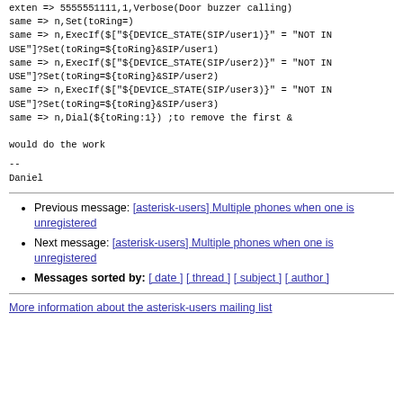exten => 5555551111,1,Verbose(Door buzzer calling)
same => n,Set(toRing=)
same => n,ExecIf($["${DEVICE_STATE(SIP/user1)}" = "NOT IN USE"]?Set(toRing=${toRing}&SIP/user1)
same => n,ExecIf($["${DEVICE_STATE(SIP/user2)}" = "NOT IN USE"]?Set(toRing=${toRing}&SIP/user2)
same => n,ExecIf($["${DEVICE_STATE(SIP/user3)}" = "NOT IN USE"]?Set(toRing=${toRing}&SIP/user3)
same => n,Dial(${toRing:1}) ;to remove the first &

would do the work
--
Daniel
Previous message: [asterisk-users] Multiple phones when one is unregistered
Next message: [asterisk-users] Multiple phones when one is unregistered
Messages sorted by: [ date ] [ thread ] [ subject ] [ author ]
More information about the asterisk-users mailing list